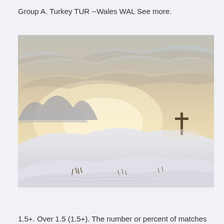Group A. Turkey TUR --Wales WAL See more.
[Figure (photo): A snowy mountain landscape at sunset or sunrise with a wooden cross standing on a snow-covered hilltop. The sky is dramatic with clouds lit in warm golden-orange tones. Mountains are visible in the background on the left.]
1.5+. Over 1.5 (1.5+). The number or percent of matches